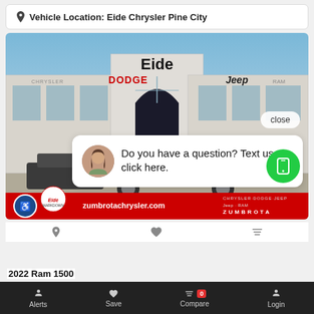Vehicle Location: Eide Chrysler Pine City
[Figure (photo): Exterior photo of Eide Chrysler dealership building with Dodge, Jeep, and Ram signage. A white pickup truck is parked in front. A chat popup overlay reads 'Do you have a question? Text us - click here.' with a female avatar. A close button and green phone button are visible. Red bottom banner shows zumbrotachrysler.com.]
Alerts  Save  Compare 0  Login
2022 Ram 1500